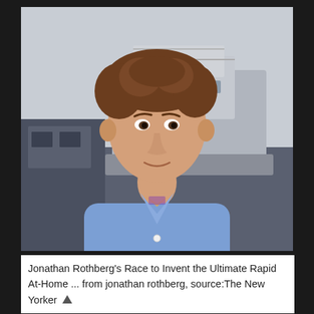[Figure (photo): A man with curly brown hair wearing a blue button-up shirt, standing outdoors in front of a large yacht/boat docked at a marina. The background shows a grey sky and the vessel. The man is looking slightly off-camera with a calm expression.]
Jonathan Rothberg's Race to Invent the Ultimate Rapid At-Home ... from jonathan rothberg, source:The New Yorker